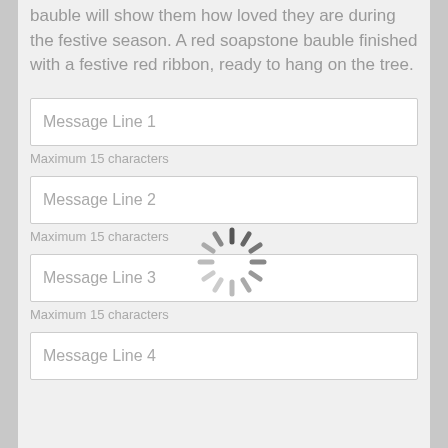bauble will show them how loved they are during the festive season. A red soapstone bauble finished with a festive red ribbon, ready to hang on the tree.
Message Line 1
Maximum 15 characters
[Figure (other): Loading spinner / activity indicator graphic in gray tones]
Message Line 2
Maximum 15 characters
Message Line 3
Maximum 15 characters
Message Line 4